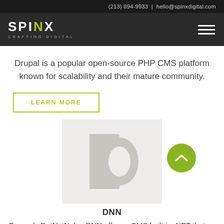(213) 894-9933 | hello@spinxdigital.com
[Figure (logo): SPINX Digital logo — white bold text on dark background with tagline CRAFTING DIGITAL, and hamburger menu icon]
Drupal is a popular open-source PHP CMS platform known for scalability and their mature community.
LEARN MORE
[Figure (logo): DNN platform logo — large stylized letter D in light gray on a light gray background square]
DNN
Formerly DotNetNuke, DNN offers a CMS built in .NET that